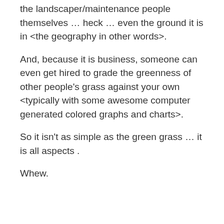the landscaper/maintenance people themselves … heck … even the ground it is in <the geography in other words>.
And, because it is business, someone can even get hired to grade the greenness of other people's grass against your own <typically with some awesome computer generated colored graphs and charts>.
So it isn't as simple as the green grass … it is all aspects .
Whew.